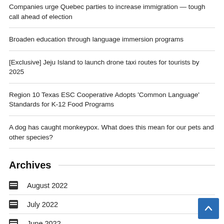Companies urge Quebec parties to increase immigration — tough call ahead of election
Broaden education through language immersion programs
[Exclusive] Jeju Island to launch drone taxi routes for tourists by 2025
Region 10 Texas ESC Cooperative Adopts 'Common Language' Standards for K-12 Food Programs
A dog has caught monkeypox. What does this mean for our pets and other species?
Archives
August 2022
July 2022
June 2022
May 2022